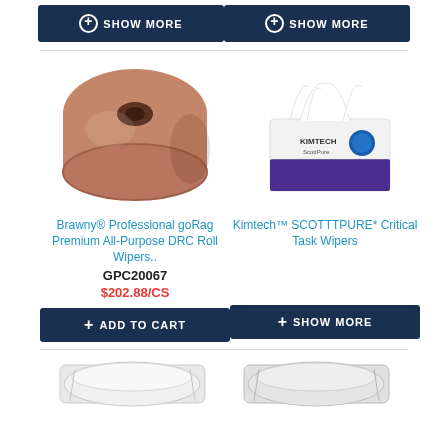[Figure (screenshot): E-commerce product listing page showing cleaning/wiping products with images, names, SKUs, prices, and add-to-cart buttons]
SHOW MORE
SHOW MORE
[Figure (photo): Brawny Professional goRag Premium All-Purpose DRC Roll Wipers - brown paper roll]
Brawny® Professional goRag Premium All-Purpose DRC Roll Wipers..
GPC20067
$202.88/CS
+ ADD TO CART
[Figure (photo): Kimtech SCOTTTPURE Critical Task Wipers - white box with purple label and wipers coming out]
Kimtech™ SCOTTTPURE* Critical Task Wipers
SHOW MORE
[Figure (photo): Partial view of two white packaged cleaning product rolls at bottom of page]